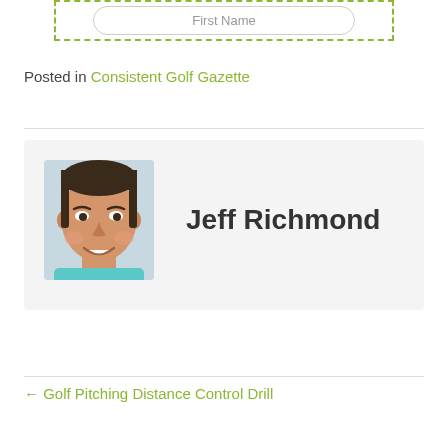[Figure (other): Input field inside a green dashed border box with placeholder text 'First Name']
Posted in Consistent Golf Gazette
[Figure (photo): Author photo of Jeff Richmond, a man smiling, used as avatar in author bio box]
Jeff Richmond
← Golf Pitching Distance Control Drill